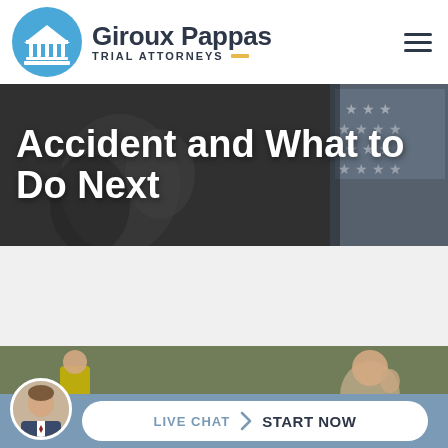[Figure (logo): Giroux Pappas Trial Attorneys logo with blue circle containing courthouse/columns icon and firm name]
[Figure (photo): Hero banner with dark overlay showing people, with American flag visible on right side]
Accident and What to Do Next
[Figure (photo): Bottom photo showing accident scene with person in yellow vest and distressed woman]
LIVE CHAT  START NOW